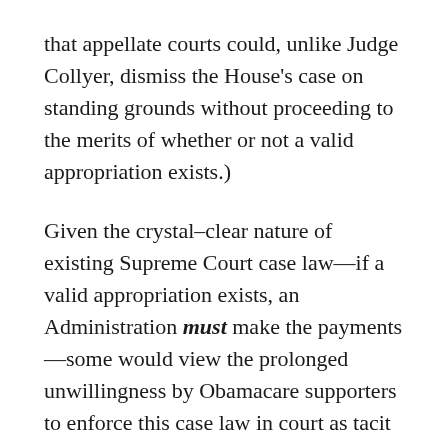that appellate courts could, unlike Judge Collyer, dismiss the House's case on standing grounds without proceeding to the merits of whether or not a valid appropriation exists.)
Given the crystal–clear nature of existing Supreme Court case law—if a valid appropriation exists, an Administration must make the payments—some would view the prolonged unwillingness by Obamacare supporters to enforce this case law in court as tacit evidence that a valid appropriation does not exist, and that the Obama Administration exceeded its constitutional authority in starting the flow of payments.